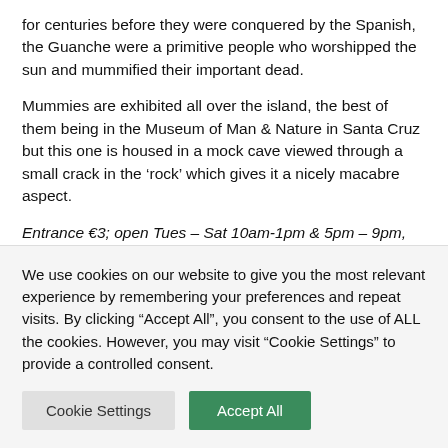for centuries before they were conquered by the Spanish, the Guanche were a primitive people who worshipped the sun and mummified their important dead.
Mummies are exhibited all over the island, the best of them being in the Museum of Man & Nature in Santa Cruz but this one is housed in a mock cave viewed through a small crack in the ‘rock’ which gives it a nicely macabre aspect.
Entrance €3; open Tues – Sat 10am-1pm & 5pm – 9pm, Sun 10am – 1pm
We use cookies on our website to give you the most relevant experience by remembering your preferences and repeat visits. By clicking “Accept All”, you consent to the use of ALL the cookies. However, you may visit “Cookie Settings” to provide a controlled consent.